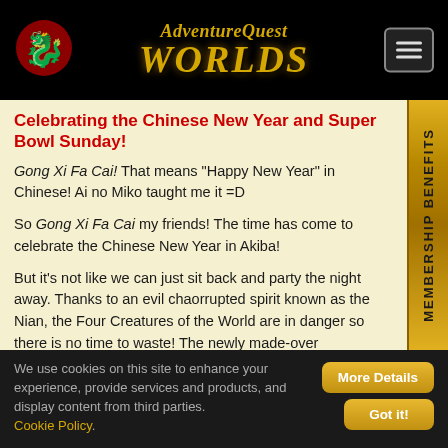AdventureQuest Worlds
Celebrating the Chinese New Year and Super Bowl Sunday!
Gong Xi Fa Cai! That means “Happy New Year” in Chinese! Ai no Miko taught me it =D

So Gong Xi Fa Cai my friends! The time has come to celebrate the Chinese New Year in Akiba!

But it’s not like we can just sit back and party the night away. Thanks to an evil chaorrupted spirit known as the Nian, the Four Creatures of the World are in danger so there is no time to waste! The newly made-over
We use cookies on this site to enhance your experience, provide services and products, and display content from third parties. Cookie Policy.